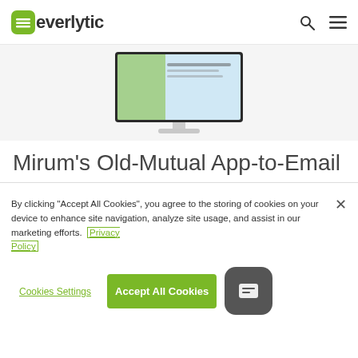[Figure (logo): Everlytic logo with green leaf icon and dark text, plus search and hamburger menu icons on the right]
[Figure (screenshot): Partial screenshot of a desktop monitor displaying an email campaign page]
Mirum's Old-Mutual App-to-Email Campaign
Everlytic and Mirum Agency collaborated on
By clicking "Accept All Cookies", you agree to the storing of cookies on your device to enhance site navigation, analyze site usage, and assist in our marketing efforts. Privacy Policy
Cookies Settings
Accept All Cookies